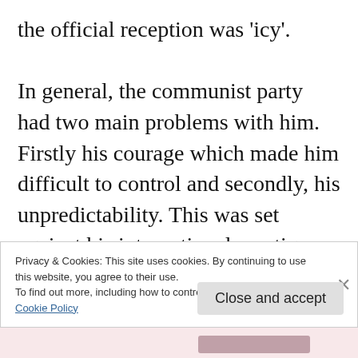the official reception was 'icy'.
In general, the communist party had two main problems with him.  Firstly his courage which made him difficult to control and secondly, his unpredictability. This was set against his international prestige which made him useful to the regime.  Shostakovich felt constantly under threat and always travelled with toothbrush and toothpaste in the expectation of arrest.
Privacy & Cookies: This site uses cookies. By continuing to use this website, you agree to their use.
To find out more, including how to control cookies, see here:
Cookie Policy
Close and accept